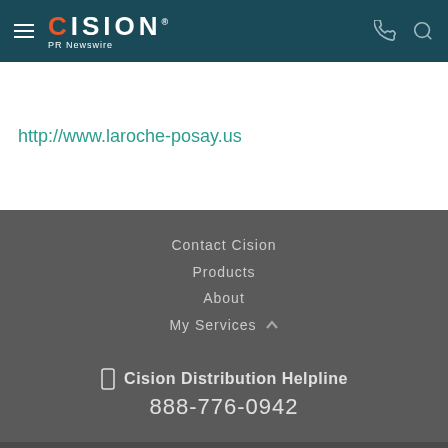Cision PR Newswire
http://www.laroche-posay.us
Contact Cision
Products
About
My Services
Cision Distribution Helpline 888-776-0942
Terms of Use | Privacy Policy | Information Security Policy | Site Map | RSS | Cookie Settings
Copyright © 2022 Cision US Inc.